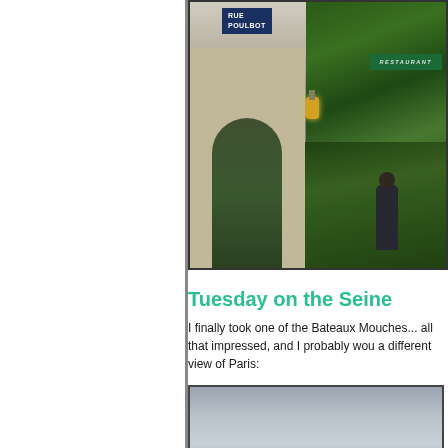[Figure (photo): Street scene in Paris showing Rue Poulbot sign, ivy-covered building with Restaurant awning, stone archway, lantern, and a person standing among lush greenery]
Tuesday on the Seine
I finally took one of the Bateaux Mouche ... all that impressed, and I probably wou... a different view of Paris:
[Figure (photo): Overcast cloudy sky view from the Seine river, grey clouds]